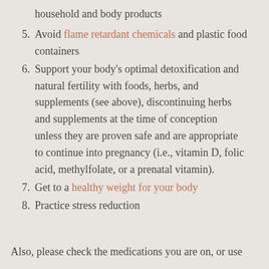household and body products
5. Avoid flame retardant chemicals and plastic food containers
6. Support your body's optimal detoxification and natural fertility with foods, herbs, and supplements (see above), discontinuing herbs and supplements at the time of conception unless they are proven safe and are appropriate to continue into pregnancy (i.e., vitamin D, folic acid, methylfolate, or a prenatal vitamin).
7. Get to a healthy weight for your body
8. Practice stress reduction
Also, please check the medications you are on, or use